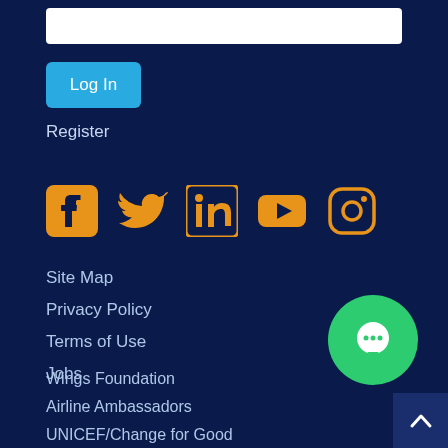[Figure (screenshot): White input text field (login/password box)]
[Figure (screenshot): Blue 'Log In' button]
Register
[Figure (infographic): Social media icons: Facebook, Twitter, LinkedIn, YouTube, Instagram — all in orange/amber color]
Site Map
Privacy Policy
Terms of Use
Jobs
[Figure (illustration): Green circular chat/message bubble icon button]
Wings Foundation
Airline Ambassadors
UNICEF/Change for Good
APA